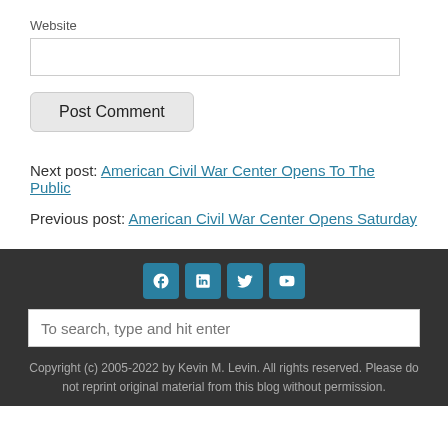Website
Post Comment
Next post: American Civil War Center Opens To The Public
Previous post: American Civil War Center Opens Saturday
[Figure (other): Social media icons: Facebook, LinkedIn, Twitter, YouTube]
To search, type and hit enter
Copyright (c) 2005-2022 by Kevin M. Levin. All rights reserved. Please do not reprint original material from this blog without permission.